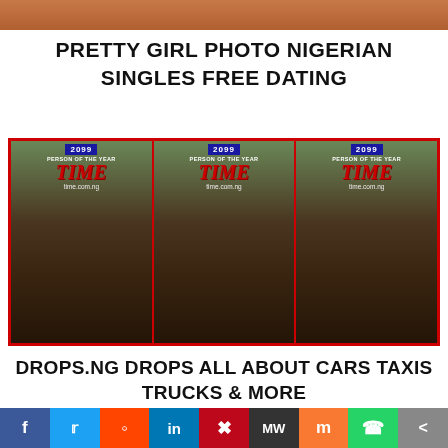[Figure (photo): Top portion of a photo showing a person in an orange/rust colored top, cropped at the neck]
PRETTY GIRL PHOTO NIGERIAN SINGLES FREE DATING
[Figure (photo): Three identical magazine-style images side by side showing a man's face on a TIME magazine spoof cover reading '2099 PERSON OF THE YEAR' with 'time.com.ng' watermark, bordered in red]
DROPS.NG DROPS ALL ABOUT CARS TAXIS TRUCKS & MORE
powered by dotifi.com. start an online business
Facebook  Twitter  Reddit  LinkedIn  Pinterest  MeWe  Mix  WhatsApp  Share